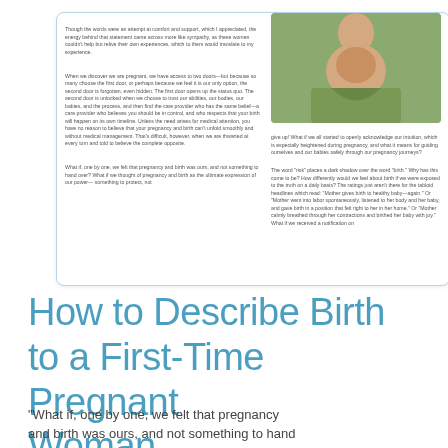[Figure (photo): Card/article preview showing two-column text layout with a photo of a pregnant woman outdoors on the right side]
How to Describe Birth to a First-Time Pregnant Woman
"What if, one by one, we felt that pregnancy and birth was ours, and not something to hand